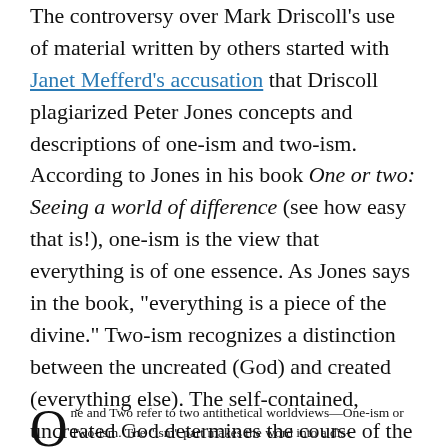The controversy over Mark Driscoll's use of material written by others started with Janet Mefferd's accusation that Driscoll plagiarized Peter Jones concepts and descriptions of one-ism and two-ism. According to Jones in his book One or two: Seeing a world of difference (see how easy that is!), one-ism is the view that everything is of one essence. As Jones says in the book, “everything is a piece of the divine.” Two-ism recognizes a distinction between the uncreated (God) and created (everything else). The self-contained, uncreated God determines the course of the creation.
Jones claims responsibility for coining these terms. On page one of One or Two, Jones claims:
One and Two refer to two antithetical worldviews—One-ism or Two-ism. The “ism” part makes the word into a dis-